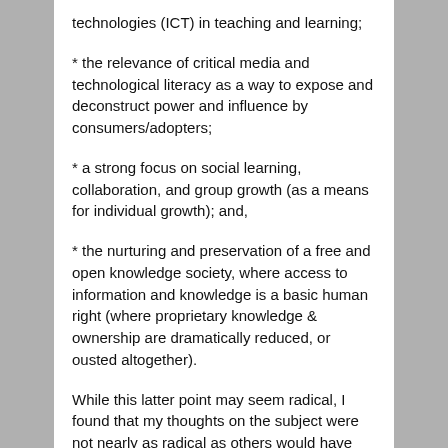* the relevance of critical media and technological literacy as a way to expose and deconstruct power and influence by consumers/adopters;
* a strong focus on social learning, collaboration, and group growth (as a means for individual growth); and,
* the nurturing and preservation of a free and open knowledge society, where access to information and knowledge is a basic human right (where proprietary knowledge & ownership are dramatically reduced, or ousted altogether).
While this latter point may seem radical, I found that my thoughts on the subject were not nearly as radical as others would have liked. Commenters Minhaaj Rehman, Steve Foerster, and Charles Evans (collectively) argued for a position beyond Creative Commons licensing and to